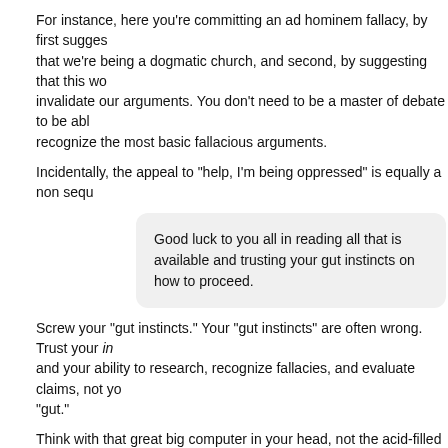For instance, here you're committing an ad hominem fallacy, by first suggesting that we're being a dogmatic church, and second, by suggesting that this would invalidate our arguments. You don't need to be a master of debate to be able recognize the most basic fallacious arguments.
Incidentally, the appeal to "help, I'm being oppressed" is equally a non sequ
Good luck to you all in reading all that is available and trusting your gut instincts on how to proceed.
Screw your "gut instincts." Your "gut instincts" are often wrong. Trust your intellect and your ability to research, recognize fallacies, and evaluate claims, not your "gut."
Think with that great big computer in your head, not the acid-filled gasbag in your abdomen.
And finally, in closing, I would like it to be known to anyone reading this thread, that I have had positive results with CAM.
Great. Lots of people get better on placebos, too. Should they spend time and effort using them to treat disease?